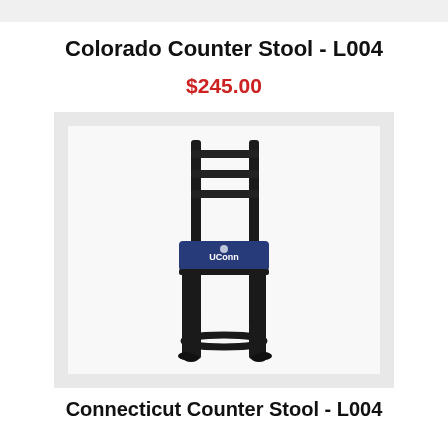Colorado Counter Stool - L004
$245.00
[Figure (photo): A black metal ladder-back counter stool with a navy blue upholstered seat cushion featuring a UConn Huskies logo.]
Connecticut Counter Stool - L004